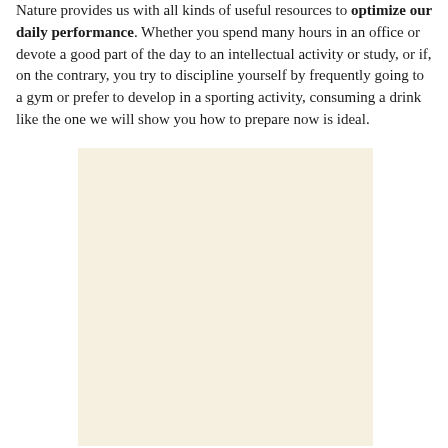Nature provides us with all kinds of useful resources to optimize our daily performance. Whether you spend many hours in an office or devote a good part of the day to an intellectual activity or study, or if, on the contrary, you try to discipline yourself by frequently going to a gym or prefer to develop in a sporting activity, consuming a drink like the one we will show you how to prepare now is ideal.
[Figure (photo): A large light beige/cream colored rectangular image placeholder area]